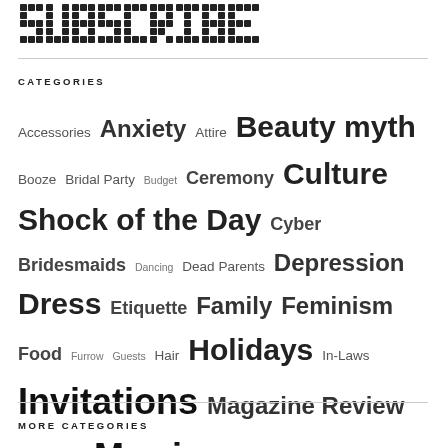[Figure (logo): Pixelated/dotted subscribe logo graphic in black]
CATEGORIES
Accessories Anxiety Attire Beauty myth Booze Bridal Party Budget Ceremony Culture Shock of the Day Cyber Bridesmaids Dancing Dead Parents Depression Dress Etiquette Family Feminism Food Furrow Guests Hair Holidays In-Laws Invitations Magazine Review Makeup Marriage Movie Review Muppets Music Not the Knot Our Wedding Loses Photography Podcasts Projects Proposal Recap Ring Running Safety South Africa Uncategorized Venue Weight You're Doing This Wrong
MORE CATEGORIES